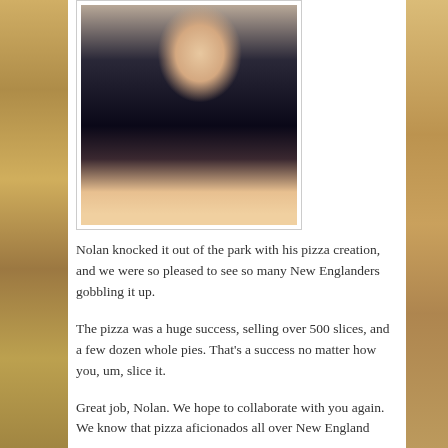[Figure (photo): A young boy wearing a dark baseball cap and navy blue jacket, smiling and looking upward. The photo is in portrait orientation with a light background.]
Nolan knocked it out of the park with his pizza creation, and we were so pleased to see so many New Englanders gobbling it up.
The pizza was a huge success, selling over 500 slices, and a few dozen whole pies. That’s a success no matter how you, um, slice it.
Great job, Nolan. We hope to collaborate with you again. We know that pizza aficionados all over New England